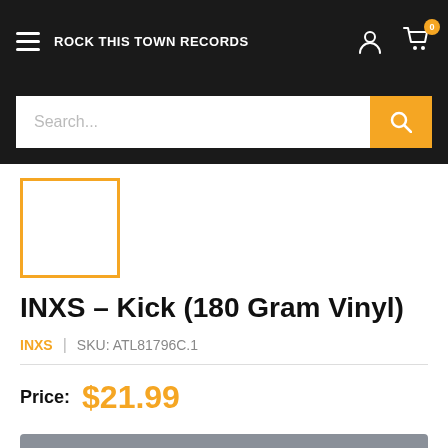ROCK THIS TOWN RECORDS
[Figure (screenshot): Product thumbnail placeholder with orange border, empty white square]
INXS – Kick (180 Gram Vinyl)
INXS | SKU: ATL81796C.1
Price: $21.99
Sold out